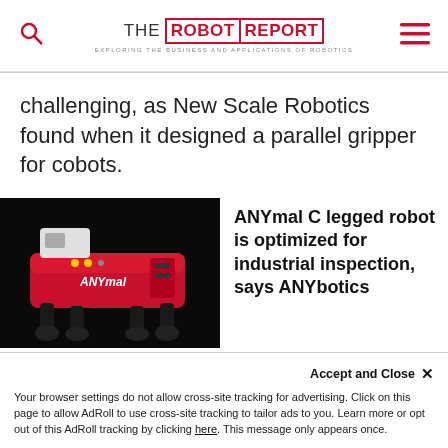THE ROBOT REPORT — EXPLORING THE BUSINESS AND APPLICATIONS OF ROBOTICS
challenging, as New Scale Robotics found when it designed a parallel gripper for cobots.
[Figure (photo): Photo of ANYmal C legged robot, a red quadruped robot with the ANYmal brand name visible on the body]
ANYmal C legged robot is optimized for industrial inspection, says ANYbotics
Your browser settings do not allow cross-site tracking for advertising. Click on this page to allow AdRoll to use cross-site tracking to tailor ads to you. Learn more or opt out of this AdRoll tracking by clicking here. This message only appears once.